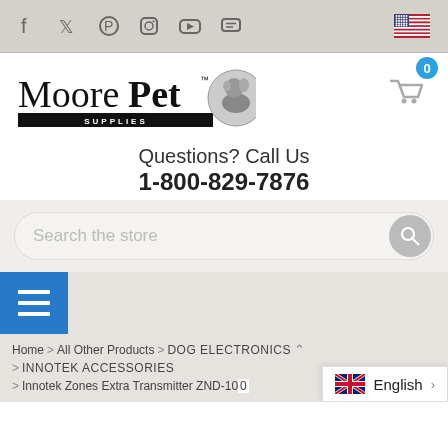Social media icons and US flag language selector
[Figure (logo): Moore Pet Supplies logo with dog illustration in circle]
Questions? Call Us
1-800-829-7876
Search the store
Home > All Other Products > DOG ELECTRONICS ^ > INNOTEK ACCESSORIES > Innotek Zones Extra Transmitter ZND-100
English